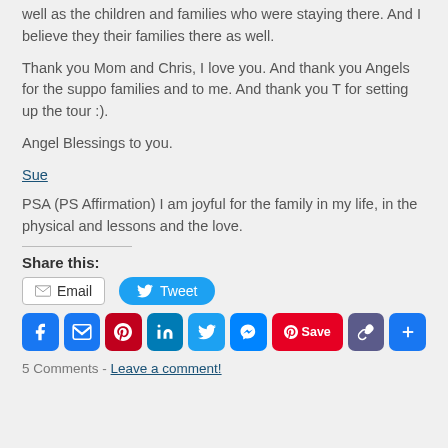well as the children and families who were staying there. And I believe they their families there as well.
Thank you Mom and Chris, I love you. And thank you Angels for the support to the families and to me. And thank you T for setting up the tour :).
Angel Blessings to you.
Sue
PSA (PS Affirmation) I am joyful for the family in my life, in the physical and the lessons and the love.
Share this:
Email  Tweet
[Figure (other): Social sharing icons: Facebook, Email, Pinterest, LinkedIn, Twitter, Messenger, Pinterest Save, Link, More]
5 Comments - Leave a comment!